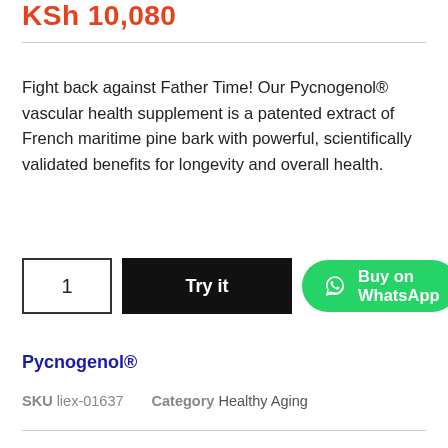KSh 10,080
Fight back against Father Time! Our Pycnogenol® vascular health supplement is a patented extract of French maritime pine bark with powerful, scientifically validated benefits for longevity and overall health.
[Figure (other): Product action buttons: quantity box showing '1', black 'Try it' button, and green 'Buy on WhatsApp' button with WhatsApp icon]
Pycnogenol®
SKU liex-01637   Category Healthy Aging